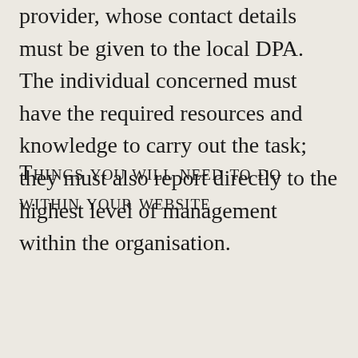provider, whose contact details must be given to the local DPA. The individual concerned must have the required resources and knowledge to carry out the task; they must also report directly to the highest level of management within the organisation.
Things you will need to do within your website